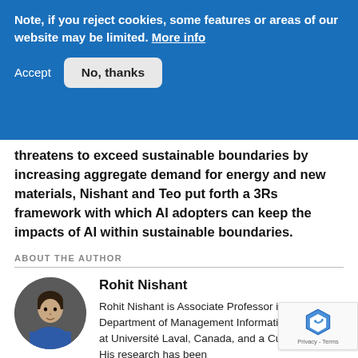Note, if you reject cookies, some features or areas of our website may be limited. More info
Accept   No, thanks
threatens to exceed sustainable boundaries by increasing aggregate demand for energy and new materials, Nishant and Teo put forth a 3Rs framework with which AI adopters can keep the impacts of AI within sustainable boundaries.
ABOUT THE AUTHOR
[Figure (photo): Circular profile photo of Rohit Nishant]
Rohit Nishant
Rohit Nishant is Associate Professor in the Department of Management Information Systems at Université Laval, Canada, and a Cutter Expert. His research has been